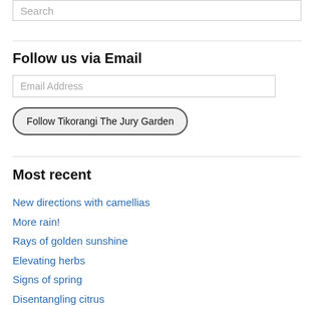[Figure (other): Search input box with placeholder text 'Search']
Follow us via Email
[Figure (other): Email address input field with placeholder 'Email Address']
[Figure (other): Button labeled 'Follow Tikorangi The Jury Garden']
Most recent
New directions with camellias
More rain!
Rays of golden sunshine
Elevating herbs
Signs of spring
Disentangling citrus
The summer gardens in midwinter